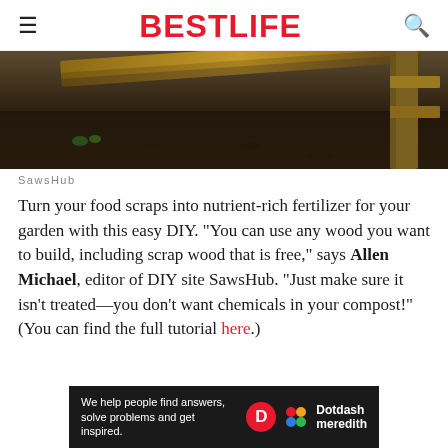BestLife
[Figure (photo): Photo of a DIY compost bin made from wood planks, showing dark soil and small plants inside a wooden frame structure]
SawsHub
Turn your food scraps into nutrient-rich fertilizer for your garden with this easy DIY. "You can use any wood you want to build, including scrap wood that is free," says Allen Michael, editor of DIY site SawsHub. "Just make sure it isn't treated—you don't want chemicals in your compost!" (You can find the full tutorial here.)
[Figure (other): Dotdash Meredith advertisement banner: 'We help people find answers, solve problems and get inspired.' with D logo and colorful dots logo]